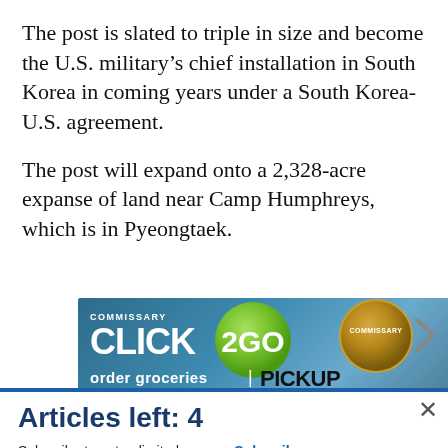The post is slated to triple in size and become the U.S. military’s chief installation in South Korea in coming years under a South Korea-U.S. agreement.
The post will expand onto a 2,328-acre expanse of land near Camp Humphreys, which is in Pyeongtaek.
[Figure (screenshot): Advertisement banner for Commissary Click2Go service showing green logo, commissary badge, and text about ordering groceries and pickup.]
Articles left: 4
Subscribe to get unlimited access  Subscribe
Already have an account?  Login here